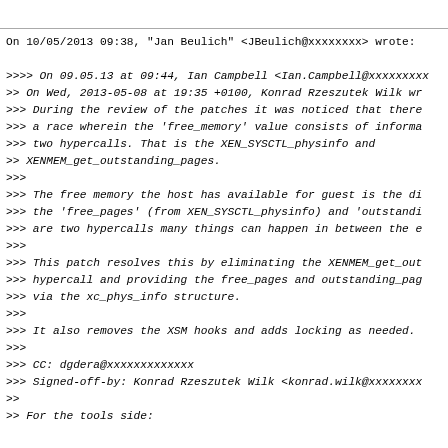On 10/05/2013 09:38, "Jan Beulich" <JBeulich@xxxxxxxx> wrote:

>>>> On 09.05.13 at 09:44, Ian Campbell <Ian.Campbell@xxxxxxxxx
>> On Wed, 2013-05-08 at 19:35 +0100, Konrad Rzeszutek Wilk wr
>>> During the review of the patches it was noticed that there
>>> a race wherein the 'free_memory' value consists of informa
>>> two hypercalls. That is the XEN_SYSCTL_physinfo and
>> XENMEM_get_outstanding_pages.
>>>
>>> The free memory the host has available for guest is the di
>>> the 'free_pages' (from XEN_SYSCTL_physinfo) and 'outstandi
>>> are two hypercalls many things can happen in between the e
>>>
>>> This patch resolves this by eliminating the XENMEM_get_out
>>> hypercall and providing the free_pages and outstanding_pag
>>> via the xc_phys_info structure.
>>>
>>> It also removes the XSM hooks and adds locking as needed.
>>>
>>> CC: dgdera@xxxxxxxxxxxxx
>>> Signed-off-by: Konrad Rzeszutek Wilk <konrad.wilk@xxxxxxxx
>>
>> For the tools side: